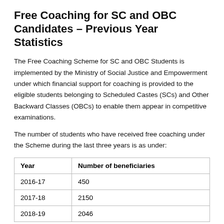Free Coaching for SC and OBC Candidates – Previous Year Statistics
The Free Coaching Scheme for SC and OBC Students is implemented by the Ministry of Social Justice and Empowerment under which financial support for coaching is provided to the eligible students belonging to Scheduled Castes (SCs) and Other Backward Classes (OBCs) to enable them appear in competitive examinations.
The number of students who have received free coaching under the Scheme during the last three years is as under:
| Year | Number of beneficiaries |
| --- | --- |
| 2016-17 | 450 |
| 2017-18 | 2150 |
| 2018-19 | 2046 |